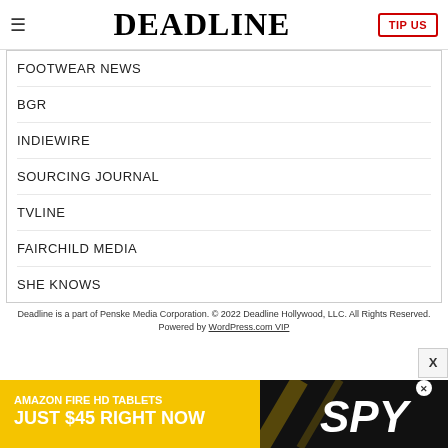DEADLINE | TIP US
FOOTWEAR NEWS
BGR
INDIEWIRE
SOURCING JOURNAL
TVLINE
FAIRCHILD MEDIA
SHE KNOWS
Deadline is a part of Penske Media Corporation. © 2022 Deadline Hollywood, LLC. All Rights Reserved. Powered by WordPress.com VIP
[Figure (screenshot): Advertisement banner: Amazon Fire HD Tablets Just $45 Right Now with SPY logo on yellow/black background]